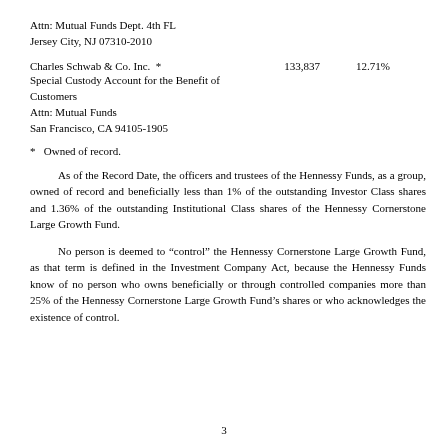Attn: Mutual Funds Dept. 4th FL
Jersey City, NJ 07310-2010
Charles Schwab & Co. Inc.  *    133,837    12.71%
Special Custody Account for the Benefit of Customers
Attn: Mutual Funds
San Francisco, CA 94105-1905
*   Owned of record.
As of the Record Date, the officers and trustees of the Hennessy Funds, as a group, owned of record and beneficially less than 1% of the outstanding Investor Class shares and 1.36% of the outstanding Institutional Class shares of the Hennessy Cornerstone Large Growth Fund.
No person is deemed to “control” the Hennessy Cornerstone Large Growth Fund, as that term is defined in the Investment Company Act, because the Hennessy Funds know of no person who owns beneficially or through controlled companies more than 25% of the Hennessy Cornerstone Large Growth Fund’s shares or who acknowledges the existence of control.
3